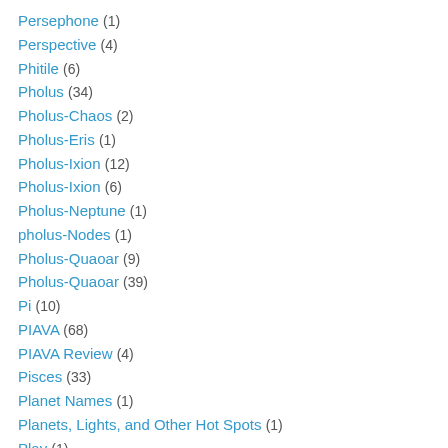Persephone (1)
Perspective (4)
Phitile (6)
Pholus (34)
Pholus-Chaos (2)
Pholus-Eris (1)
Pholus-Ixion (12)
Pholus-Ixion (6)
Pholus-Neptune (1)
pholus-Nodes (1)
Pholus-Quaoar (9)
Pholus-Quaoar (39)
Pi (10)
PIAVA (68)
PIAVA Review (4)
Pisces (33)
Planet Names (1)
Planets, Lights, and Other Hot Spots (1)
Play (1)
Pluto (61)